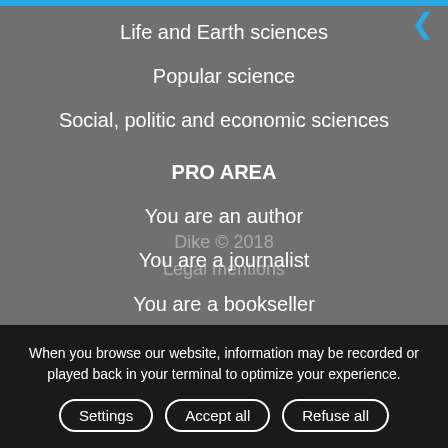Life and Earth sciences
Popular science
Social, politic and economic sciences
PRO AREA
You are an author
You are a journalist
You are a bookseller
You are a librarian
Foreign rights
Peer review process
OUR WEBSITE
When you browse our website, information may be recorded or played back in your terminal to optimize your experience.
Settings   Accept all   Refuse all